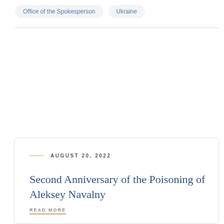Office of the Spokesperson
Ukraine
Related Articles
AUGUST 20, 2022
Second Anniversary of the Poisoning of Aleksey Navalny
READ MORE